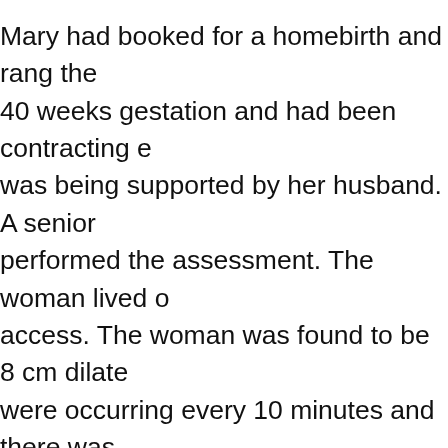Mary had booked for a homebirth and rang the 40 weeks gestation and had been contracting e was being supported by her husband. A senior performed the assessment. The woman lived o access. The woman was found to be 8 cm dilate were occurring every 10 minutes and there was hour. The woman tried walking. The midwife su labor and the woman consented and during the occurred. The woman was assisted into the all f down, and the midwife continued to put pressu prevent further occlusion of the cord. The fathe second midwife arrived in 5 minutes and warm cord. The first ambulance crew arrived in 10 mi would not fit in the elevator and chair was cont ambulance crew assisted in transfer of Mary to with her fingers applying pressure to the baby the cord. Mary was dragged on a blanket to the trolley on the ground floor. Once in the cold air